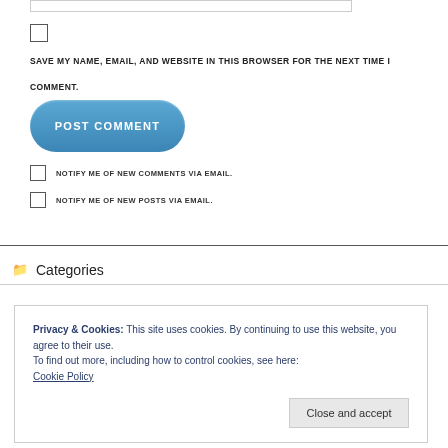[Figure (screenshot): Partial input field at top of page]
SAVE MY NAME, EMAIL, AND WEBSITE IN THIS BROWSER FOR THE NEXT TIME I COMMENT.
[Figure (screenshot): POST COMMENT button - blue rounded rectangle button]
NOTIFY ME OF NEW COMMENTS VIA EMAIL.
NOTIFY ME OF NEW POSTS VIA EMAIL.
Categories
Privacy & Cookies: This site uses cookies. By continuing to use this website, you agree to their use.
To find out more, including how to control cookies, see here:
Cookie Policy
Close and accept